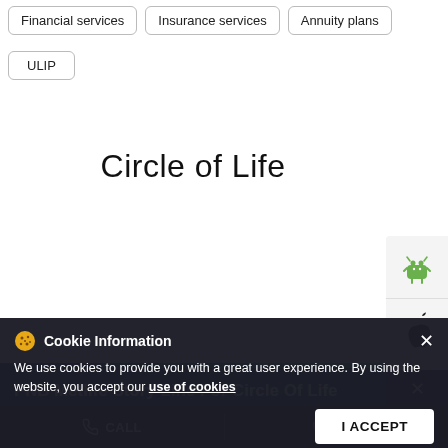Financial services
Insurance services
Annuity plans
ULIP
Circle of Life
[Figure (other): Android app icon button on right sidebar]
[Figure (other): Apple/iOS app icon button on right sidebar]
PNB Metlife Story Line For Circle Of Life
Life is all about taking care of little nuances. From saving for your dream home to ensuring family's safety from planning your kid's education to retirement
Cookie Information
We use cookies to provide you with a great user experience. By using the website, you accept our use of cookies
I ACCEPT
CALL   DIRECTIONS